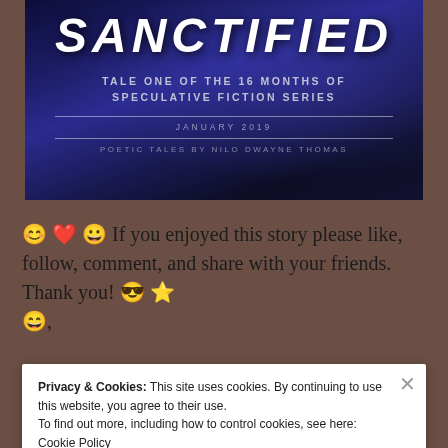[Figure (illustration): Book cover for 'Sanctified', Tale One of the 16 Months of Speculative Fiction Series, January 2019. Poetic Tales by Nilo Dwayne Thomas. Dark blue/purple background with dramatic lighting.]
😊 ❤️ 😀 If you enjoyed this story please like, follow, comment, and share with your friends. Thank you! 😎 ⭐ 😄,
Privacy & Cookies: This site uses cookies. By continuing to use this website, you agree to their use.
To find out more, including how to control cookies, see here: Cookie Policy
Close and accept